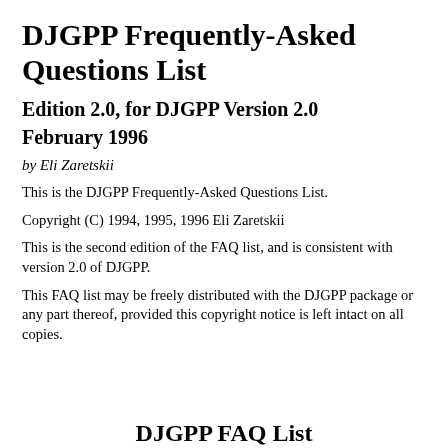DJGPP Frequently-Asked Questions List
Edition 2.0, for DJGPP Version 2.0
February 1996
by Eli Zaretskii
This is the DJGPP Frequently-Asked Questions List.
Copyright (C) 1994, 1995, 1996 Eli Zaretskii
This is the second edition of the FAQ list, and is consistent with version 2.0 of DJGPP.
This FAQ list may be freely distributed with the DJGPP package or any part thereof, provided this copyright notice is left intact on all copies.
DJGPP FAQ List